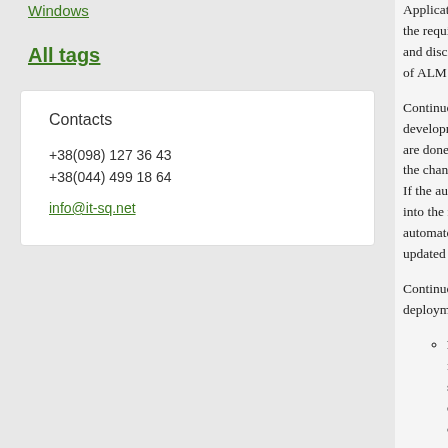Windows
All tags
Contacts
+38(098) 127 36 43
+38(044) 499 18 64
info@it-sq.net
Application lifecycle m... the requirements gathe... and disciplined way to... of ALM itself, resulting...
Continuous developme... development by coord... are done multiple times... the changes that they h... If the automated tests... into the next build. Th... automated tests, it is t... updated if those tests a...
Continuous developme... deployment cycles. He...
Requirements v... requirements ar... solution that doe... development for... cycle. In many... development ma... you can avoid th...